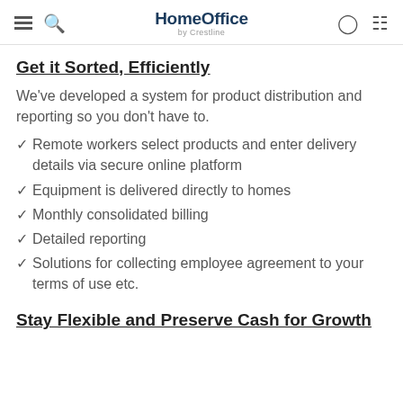HomeOffice by Crestline
Get it Sorted, Efficiently
We've developed a system for product distribution and reporting so you don't have to.
Remote workers select products and enter delivery details via secure online platform
Equipment is delivered directly to homes
Monthly consolidated billing
Detailed reporting
Solutions for collecting employee agreement to your terms of use etc.
Stay Flexible and Preserve Cash for Growth